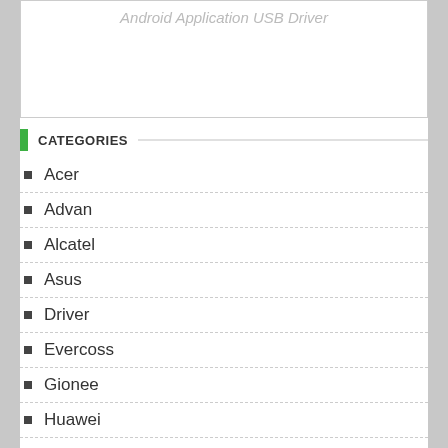[Figure (screenshot): Android application USB Driver website header/banner area (partially visible, mostly blank with faint title text)]
CATEGORIES
Acer
Advan
Alcatel
Asus
Driver
Evercoss
Gionee
Huawei
Infinix
Lenovo
Meizu
Micromax